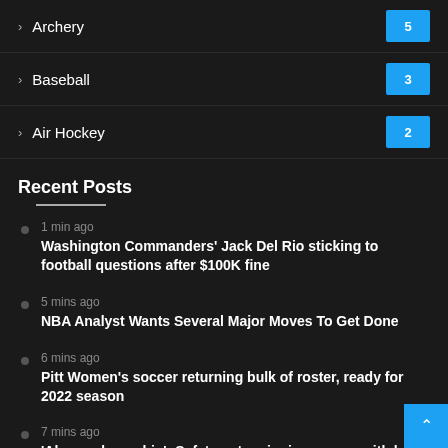Archery 5
Baseball 3
Air Hockey 2
Recent Posts
1 min ago — Washington Commanders' Jack Del Rio sticking to football questions after $100K fine
5 mins ago — NBA Analyst Wants Several Major Moves To Get Done
6 mins ago — Pitt Women's soccer returning bulk of roster, ready for 2022 season
7 mins ago — 'Always dream big': Safety enters junior season with lofty goal